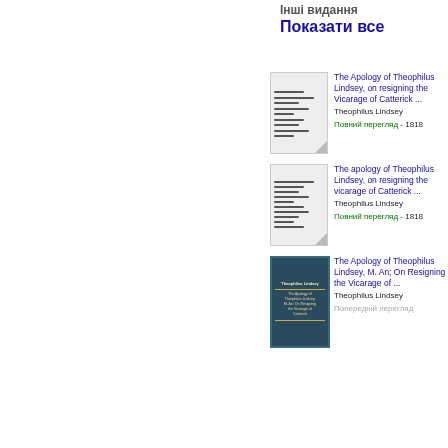Інші видання
Показати все
[Figure (illustration): Small book cover thumbnail of The Apology of Theophilus Lindsey (1818), grayscale]
The Apology of Theophilus Lindsey, on resigning the Vicarage of Catterick ...
Theophilus Lindsey
Повний перегляд - 1818
[Figure (illustration): Small book cover thumbnail of The apology of Theophilus Lindsey (1818), grayscale]
The apology of Theophilus Lindsey, on resigning the vicarage of Catterick ...
Theophilus Lindsey
Повний перегляд - 1818
[Figure (photo): Colored book cover thumbnail of The Apology of Theophilus Lindsey, teal and gold design]
The Apology of Theophilus Lindsey, M. An; On Resigning the Vicarage of ...
Theophilus Lindsey
Попередній перегляд